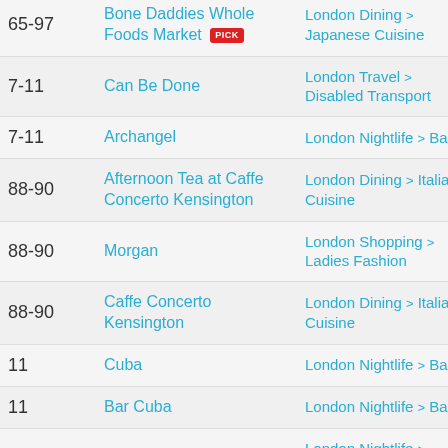| Pages | Name | Category |
| --- | --- | --- |
| 65-97 | Bone Daddies Whole Foods Market [PICK] | London Dining > Japanese Cuisine |
| 7-11 | Can Be Done | London Travel > Disabled Transport |
| 7-11 | Archangel | London Nightlife > Bars |
| 88-90 | Afternoon Tea at Caffe Concerto Kensington | London Dining > Italian Cuisine |
| 88-90 | Morgan | London Shopping > Ladies Fashion |
| 88-90 | Caffe Concerto Kensington | London Dining > Italian Cuisine |
| 11 | Cuba | London Nightlife > Bars |
| 11 | Bar Cuba | London Nightlife > Bars |
| 2 | Bloom [PICK] | London Nightlife > Nightclubs |